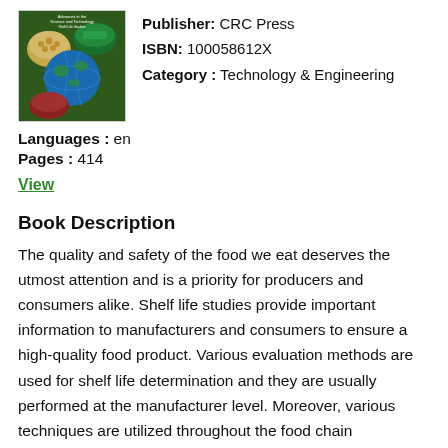[Figure (photo): Book cover image showing bowls of food (chickpeas, greens, other ingredients) with a globe, for a food safety/technology book.]
Publisher: CRC Press
ISBN: 100058612X
Category : Technology & Engineering
Languages : en
Pages : 414
View
Book Description
The quality and safety of the food we eat deserves the utmost attention and is a priority for producers and consumers alike. Shelf life studies provide important information to manufacturers and consumers to ensure a high-quality food product. Various evaluation methods are used for shelf life determination and they are usually performed at the manufacturer level. Moreover, various techniques are utilized throughout the food chain